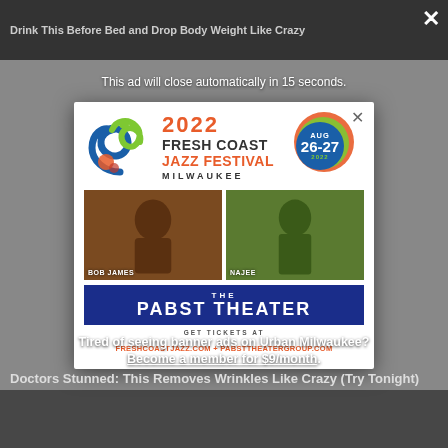Drink This Before Bed and Drop Body Weight Like Crazy
This ad will close automatically in 15 seconds.
[Figure (illustration): 2022 Fresh Coast Jazz Festival Milwaukee advertisement. Aug 26-27 2022. The Pabst Theater. Get tickets at freshcoastjazz.com + pabsttheatergroup.com. Features artists Bob James and Najee.]
Tired of seeing banner ads on Urban Milwaukee?
Become a member for $9/month.
Doctors Stunned: This Removes Wrinkles Like Crazy (Try Tonight)